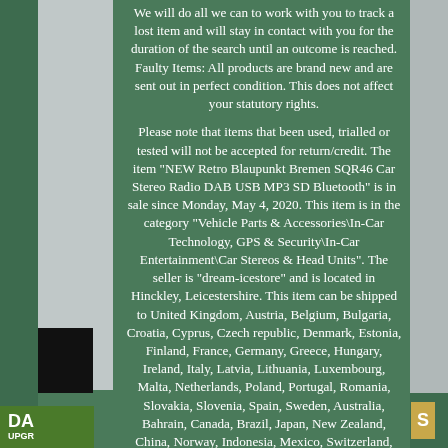We will do all we can to work with you to track a lost item and will stay in contact with you for the duration of the search until an outcome is reached. Faulty Items: All products are brand new and are sent out in perfect condition. This does not affect your statutory rights.
Please note that items that been used, trialled or tested will not be accepted for return/credit. The item "NEW Retro Blaupunkt Bremen SQR46 Car Stereo Radio DAB USB MP3 SD Bluetooth" is in sale since Monday, May 4, 2020. This item is in the category "Vehicle Parts & Accessories\In-Car Technology, GPS & Security\In-Car Entertainment\Car Stereos & Head Units". The seller is "dream-icestore" and is located in Hinckley, Leicestershire. This item can be shipped to United Kingdom, Austria, Belgium, Bulgaria, Croatia, Cyprus, Czech republic, Denmark, Estonia, Finland, France, Germany, Greece, Hungary, Ireland, Italy, Latvia, Lithuania, Luxembourg, Malta, Netherlands, Poland, Portugal, Romania, Slovakia, Slovenia, Spain, Sweden, Australia, Bahrain, Canada, Brazil, Japan, New Zealand, China, Norway, Indonesia, Mexico, Switzerland, Bangladesh, Bermuda, Bolivia, Barbados, Brunei darussalam, Ecuador, Egypt, Guernsey, Gibraltar, Guadeloupe, French guiana, Iceland, Jersey, Jordan, Cambodia, Liechtenstein, Sri lanka, Macao, Monaco, Maldives, Martinique, Nicaragua, Oman, Pakistan, Peru, Paraguay, Reunion, Saudi arabia, South...